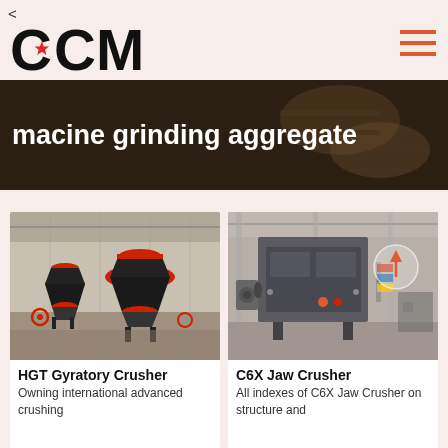<
[Figure (logo): CCM logo with red star on the C]
[Figure (other): Hamburger menu icon in orange/red]
macine grinding aggregate
[Figure (photo): HGT Gyratory Crusher machines in an industrial warehouse with red and black cone crushers]
HGT Gyratory Crusher
Owning international advanced crushing
[Figure (photo): C6X Jaw Crusher large gray industrial machine with circular arrow indicator]
C6X Jaw Crusher
All indexes of C6X Jaw Crusher on structure and